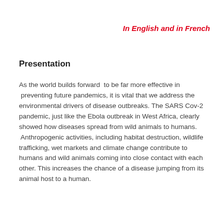In English and in French
Presentation
As the world builds forward  to be far more effective in  preventing future pandemics, it is vital that we address the environmental drivers of disease outbreaks. The SARS Cov-2 pandemic, just like the Ebola outbreak in West Africa, clearly showed how diseases spread from wild animals to humans.  Anthropogenic activities, including habitat destruction, wildlife trafficking, wet markets and climate change contribute to humans and wild animals coming into close contact with each other. This increases the chance of a disease jumping from its animal host to a human.